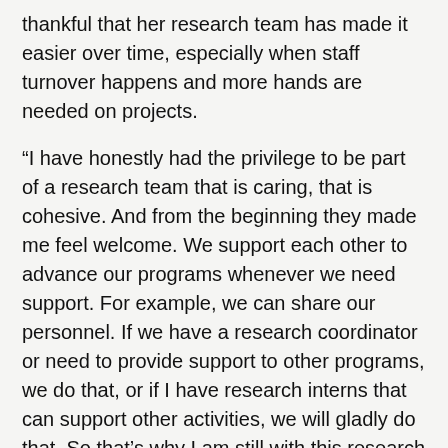thankful that her research team has made it easier over time, especially when staff turnover happens and more hands are needed on projects.
“I have honestly had the privilege to be part of a research team that is caring, that is cohesive. And from the beginning they made me feel welcome. We support each other to advance our programs whenever we need support. For example, we can share our personnel. If we have a research coordinator or need to provide support to other programs, we do that, or if I have research interns that can support other activities, we will gladly do that. So that’s why I am still with this research team.
Another challenge she faces is not living in San Antonio. But with virtual meetings and online communication, they make it work.
“Not living in San Antonio is a challenge for me. Because of course it would be ideal for me to be all the time at the office. But the technology has allowed me to work from home, keep